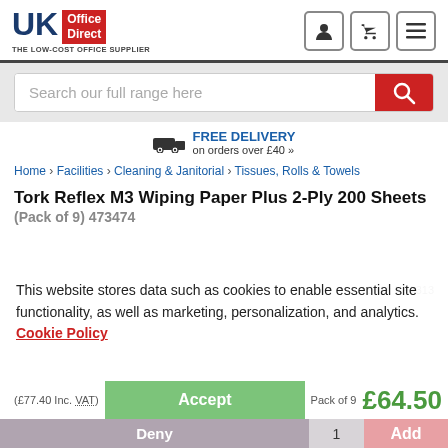[Figure (logo): UK Office Direct logo - blue UK text with red Office Direct box, tagline THE LOW-COST OFFICE SUPPLIER]
[Figure (screenshot): Header icons: user/account, shopping cart, menu/hamburger]
[Figure (screenshot): Search bar with placeholder text 'Search our full range here' and red search button]
FREE DELIVERY on orders over £40 »
Home > Facilities > Cleaning & Janitorial > Tissues, Rolls & Towels
Tork Reflex M3 Wiping Paper Plus 2-Ply 200 Sheets
(Pack of 9) 473474
This website stores data such as cookies to enable essential site functionality, as well as marketing, personalization, and analytics. Cookie Policy
SKU: KFA313
(£77.40 Inc. VAT)   Pack of 9   £64.50
Accept
Deny   1   Add